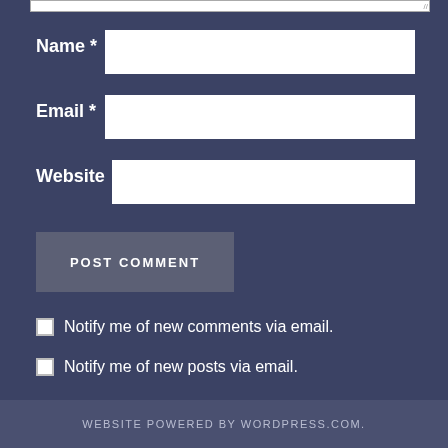[Figure (screenshot): Top portion of a textarea input field (cropped), with resize handle visible at bottom-right corner]
Name *
[Figure (screenshot): Name input text field (empty, white background)]
Email *
[Figure (screenshot): Email input text field (empty, white background)]
Website
[Figure (screenshot): Website input text field (empty, white background)]
POST COMMENT
Notify me of new comments via email.
Notify me of new posts via email.
WEBSITE POWERED BY WORDPRESS.COM.